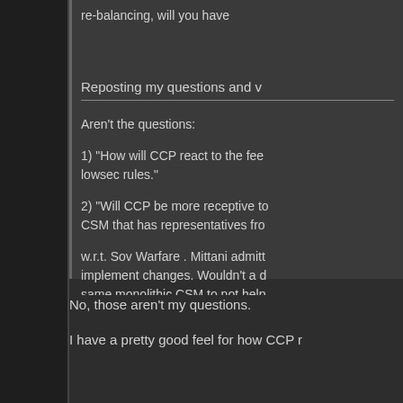re-balancing, will you have
Reposting my questions and v
Aren't the questions:
1) "How will CCP react to the fee lowsec rules."
2) "Will CCP be more receptive to CSM that has representatives fro
w.r.t. Sov Warfare . Mittani admitt implement changes. Wouldn't a d same monolithic CSM to not help
No, those aren't my questions.
I have a pretty good feel for how CCP r